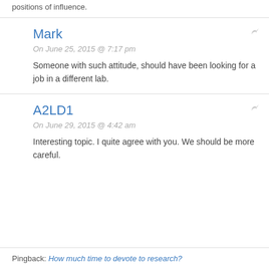positions of influence.
Mark
On June 25, 2015 @ 7:17 pm
Someone with such attitude, should have been looking for a job in a different lab.
A2LD1
On June 29, 2015 @ 4:42 am
Interesting topic. I quite agree with you. We should be more careful.
Pingback: How much time to devote to research?